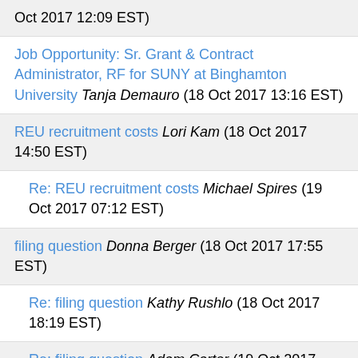Oct 2017 12:09 EST)
Job Opportunity: Sr. Grant & Contract Administrator, RF for SUNY at Binghamton University Tanja Demauro (18 Oct 2017 13:16 EST)
REU recruitment costs Lori Kam (18 Oct 2017 14:50 EST)
Re: REU recruitment costs Michael Spires (19 Oct 2017 07:12 EST)
filing question Donna Berger (18 Oct 2017 17:55 EST)
Re: filing question Kathy Rushlo (18 Oct 2017 18:19 EST)
Re: filing question Adam Carter (19 Oct 2017 05:54